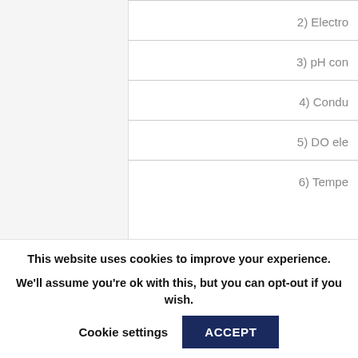2) Electro
3) pH con
4) Condu
5) DO ele
6) Tempe
This website uses cookies to improve your experience. We'll assume you're ok with this, but you can opt-out if you wish.
Cookie settings
ACCEPT